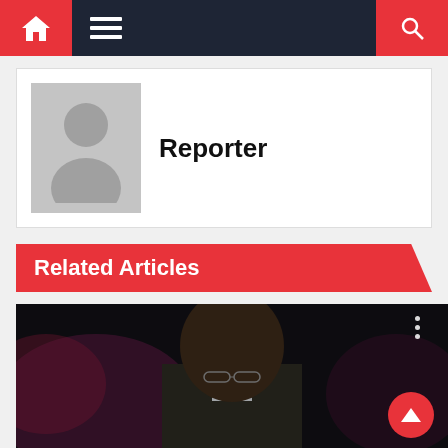Navigation bar with home, menu, and search icons
[Figure (illustration): Author profile card with generic silhouette avatar placeholder]
Reporter
Related Articles
[Figure (photo): Close-up photo of a man wearing glasses and a suit jacket, against a dark studio background with purple/red lighting]